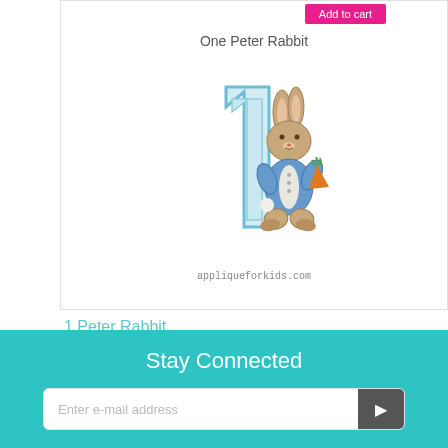[Figure (illustration): Product image showing a Peter Rabbit embroidery design with a large number '1' in blue outline and a cartoon rabbit in a blue jacket holding a carrot. Title 'One Peter Rabbit' at top, watermark 'appliqueforkids.com' at bottom.]
1 Peter Rabbit
$4.00 (strikethrough original price) $2.00 (sale price)
Stay Connected
Enter e-mail address